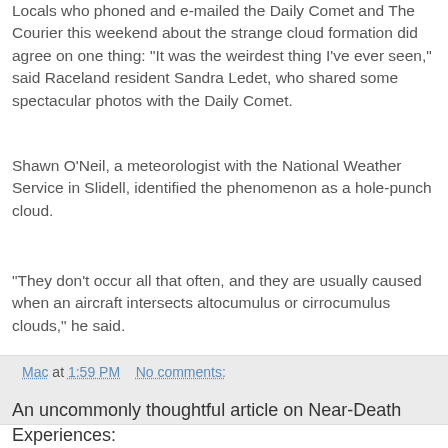Locals who phoned and e-mailed the Daily Comet and The Courier this weekend about the strange cloud formation did agree on one thing: "It was the weirdest thing I've ever seen," said Raceland resident Sandra Ledet, who shared some spectacular photos with the Daily Comet.
Shawn O'Neil, a meteorologist with the National Weather Service in Slidell, identified the phenomenon as a hole-punch cloud.
"They don't occur all that often, and they are usually caused when an aircraft intersects altocumulus or cirrocumulus clouds," he said.
Mac at 1:59 PM    No comments:
An uncommonly thoughtful article on Near-Death Experiences: